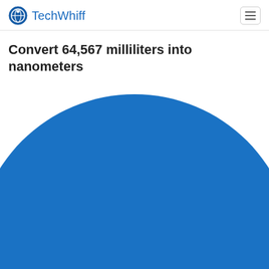TechWhiff
Convert 64,567 milliliters into nanometers
[Figure (illustration): Large blue filled circle, mostly cropped, showing only the upper portion within the page view]